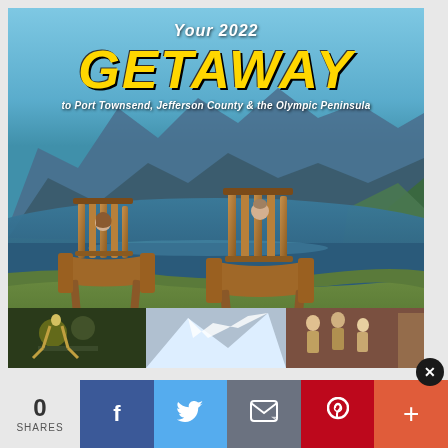[Figure (photo): Magazine cover for 'Your 2022 GETAWAY to Port Townsend, Jefferson County & the Olympic Peninsula'. Shows two Adirondack chairs facing a mountain lake with blue sky and forested mountains in the background. Bottom strip shows three smaller photos: cyclists, mountain/snow scene, and people socializing outdoors.]
Your 2022 GETAWAY to Port Townsend, Jefferson County & the Olympic Peninsula
0 SHARES